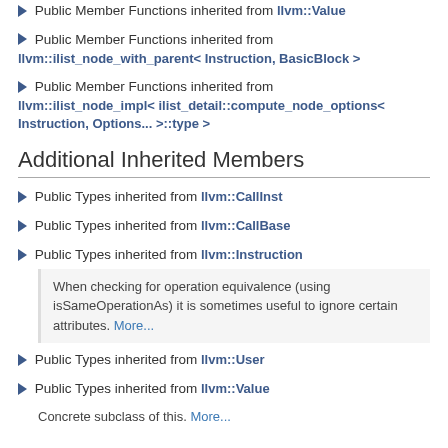▶ Public Member Functions inherited from llvm::Value
▶ Public Member Functions inherited from llvm::ilist_node_with_parent< Instruction, BasicBlock >
▶ Public Member Functions inherited from llvm::ilist_node_impl< ilist_detail::compute_node_options< Instruction, Options... >::type >
Additional Inherited Members
▶ Public Types inherited from llvm::CallInst
▶ Public Types inherited from llvm::CallBase
▶ Public Types inherited from llvm::Instruction
When checking for operation equivalence (using isSameOperationAs) it is sometimes useful to ignore certain attributes. More...
▶ Public Types inherited from llvm::User
▶ Public Types inherited from llvm::Value
Concrete subclass of this. More...